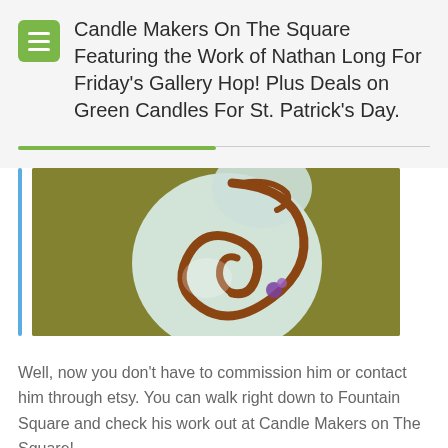Candle Makers On The Square Featuring the Work of Nathan Long For Friday's Gallery Hop! Plus Deals on Green Candles For St. Patrick's Day.
[Figure (photo): Close-up photo of a decorative ceramic or clay piece featuring a hand-painted design with a curling vine or snake motif in brown/orange tones on a white/blue background, set against an olive/dark yellow surface.]
Well, now you don't have to commission him or contact him through etsy. You can walk right down to Fountain Square and check his work out at Candle Makers on The Square!
Also, on St Patrick's Day, ALL of our